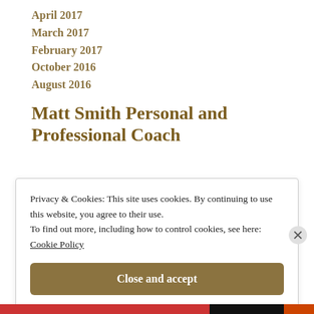April 2017
March 2017
February 2017
October 2016
August 2016
Matt Smith Personal and Professional Coach
Privacy & Cookies: This site uses cookies. By continuing to use this website, you agree to their use.
To find out more, including how to control cookies, see here: Cookie Policy
Close and accept